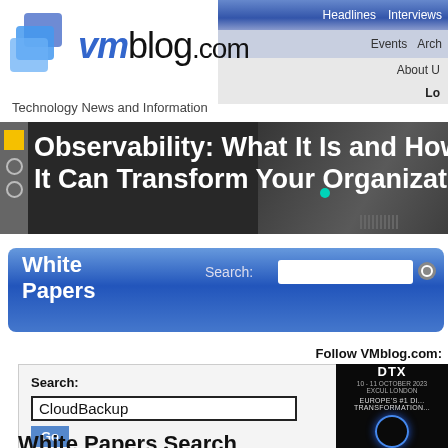Headlines  Interviews  Events  Arch  About U  Lo
[Figure (logo): VMblog.com logo with blue square icon and text 'vmblog.com']
Technology News and Information
[Figure (photo): Dark banner image with text: Observability: What It Is and How It Can Transform Your Organization, with yellow square and circles on left sidebar, teal dot, and background road/track imagery]
White Papers
Search:
Follow VMblog.com:
Search:
CloudBackup
Go
Recently Added
Browse All White Papers
White Papers Search
[Figure (photo): DTX Europe advertisement banner showing '10 - 11 OCTOBER 2023 EXCUL LONDON' and 'EUROPE'S #1 DI... TRANSFORMATION...' with a glowing circular element]